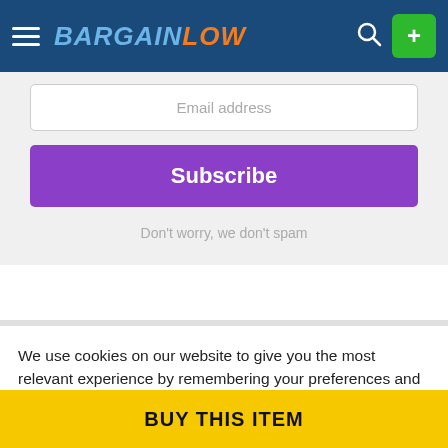BARGAINLOW
Email address
Subscribe
Don't worry, we don't spam
We use cookies on our website to give you the most relevant experience by remembering your preferences and repeat visits. By clicking “Accept All”, you consent to the use of ALL the cookies. However, you may visit "Cookie Settings" to provide a controlled consent.
BUY THIS ITEM